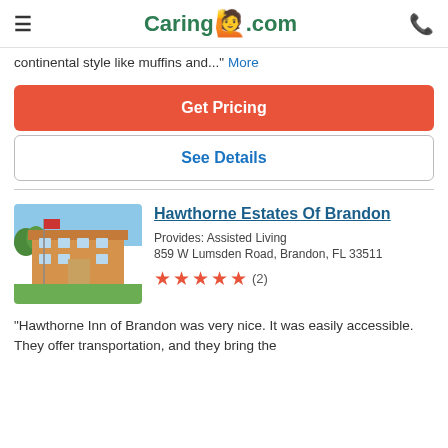Caring.com
continental style like muffins and..." More
Get Pricing
See Details
Hawthorne Estates Of Brandon
Provides: Assisted Living
859 W Lumsden Road, Brandon, FL 33511
★★★★★ (2)
"Hawthorne Inn of Brandon was very nice. It was easily accessible. They offer transportation, and they bring the